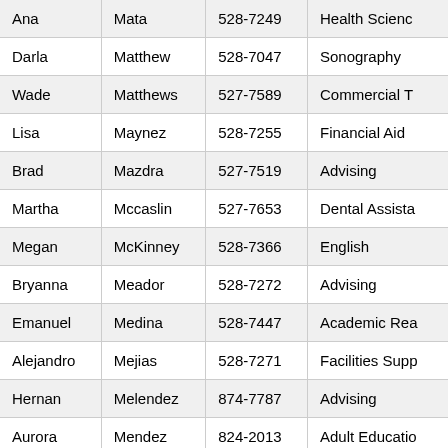| Ana | Mata | 528-7249 | Health Science |
| Darla | Matthew | 528-7047 | Sonography |
| Wade | Matthews | 527-7589 | Commercial T |
| Lisa | Maynez | 528-7255 | Financial Aid |
| Brad | Mazdra | 527-7519 | Advising |
| Martha | Mccaslin | 527-7653 | Dental Assista |
| Megan | McKinney | 528-7366 | English |
| Bryanna | Meador | 528-7272 | Advising |
| Emanuel | Medina | 528-7447 | Academic Rea |
| Alejandro | Mejias | 528-7271 | Facilities Supp |
| Hernan | Melendez | 874-7787 | Advising |
| Aurora | Mendez | 824-2013 | Adult Educatio |
| Elsa | Mendoza | 874-7780 | Sunland Park |